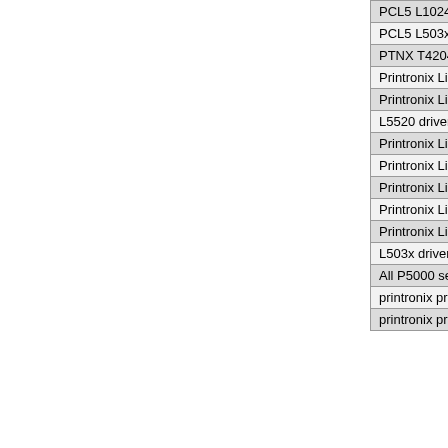| Driver Name |
| --- |
| PCL5 L1024 driver |
| PCL5 L503x driver |
| PTNX T4204 driver |
| Printronix Line Matrix P5000 H-series driver |
| Printronix Line Matrix P5000LJ series driver |
| L5520 driver |
| Printronix Line Matrix P5000 series driver |
| Printronix Line Matrix P7000 series driver |
| Printronix Line Matrix P5000 series driver |
| Printronix Line Matrix P5000 series driver |
| Printronix Line Matrix P5000 series driver |
| L503x driver |
| All P5000 series driver |
| printronix proline series p5000 driver |
| printronix proline series p5005 driver |
Click h
Copyright and Terms of    Do